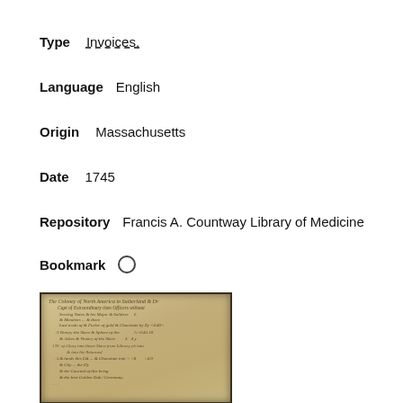Type  Invoices.
Language  English
Origin  Massachusetts
Date  1745
Repository  Francis A. Countway Library of Medicine
Bookmark  ○
[Figure (photo): Photograph of a handwritten 1745 manuscript invoice page with cursive script on aged paper, showing multiple lines of text with numbers on the right side.]